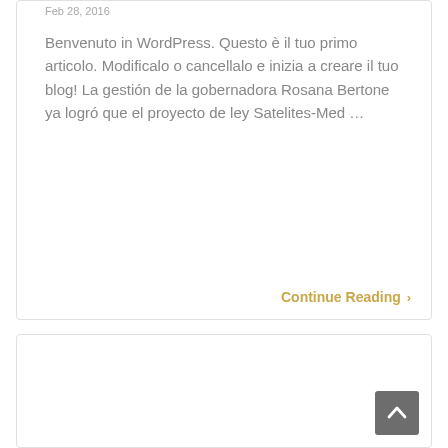Feb 28, 2016
Benvenuto in WordPress. Questo è il tuo primo articolo. Modificalo o cancellalo e inizia a creare il tuo blog! La gestión de la gobernadora Rosana Bertone ya logró que el proyecto de ley Satelites-Med ...
Continue Reading ›
[Figure (other): Back to top button with upward chevron arrow on dark grey background]